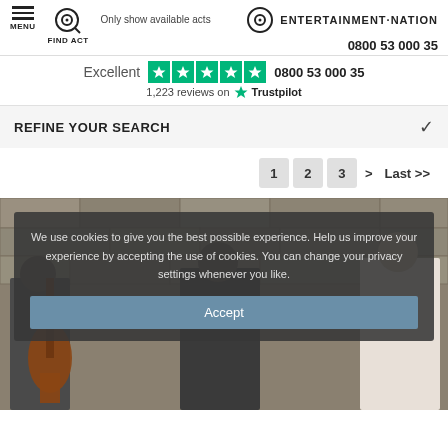MENU  FIND ACT  Only show available acts  ENTERTAINMENT·NATION  0800 53 000 35
Excellent  1,223 reviews on Trustpilot
REFINE YOUR SEARCH
1  2  3  >  Last >>
[Figure (photo): Three musicians standing against a stone wall, one holding a cello/double bass, wearing formal attire with suspenders]
We use cookies to give you the best possible experience. Help us improve your experience by accepting the use of cookies. You can change your privacy settings whenever you like.
Accept